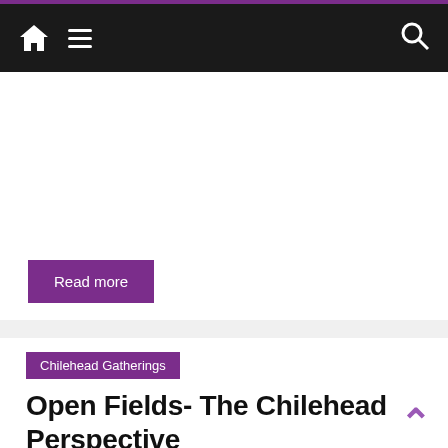Navigation bar with home icon, menu, and search
Read more
Chilehead Gatherings
Open Fields- The Chilehead Perspective
September 29, 2010  Buddah  4 Comments  2010, Chileheads, Jim Campbell, Open Fields, peppers